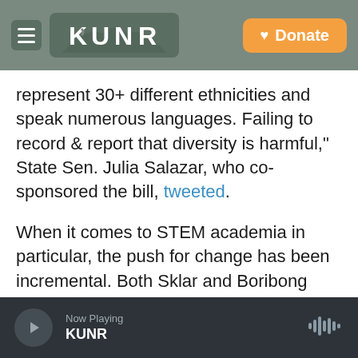KUNR | Donate
represent 30+ different ethnicities and speak numerous languages. Failing to record & report that diversity is harmful," State Sen. Julia Salazar, who co-sponsored the bill, tweeted.
When it comes to STEM academia in particular, the push for change has been incremental. Both Sklar and Boribong hadn't realized how many others had gone through the same experience until Yang tweeted about her experience in October.
Elevating the conversation, though, might lead to some change. After Yang's tweet spread on social
Now Playing KUNR